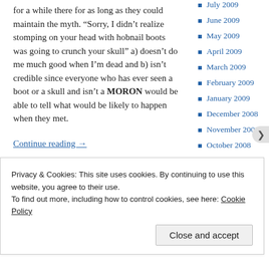for a while there for as long as they could maintain the myth. “Sorry, I didn’t realize stomping on your head with hobnail boots was going to crunch your skull” a) doesn’t do me much good when I’m dead and b) isn’t credible since everyone who has ever seen a boot or a skull and isn’t a MORON would be able to tell what would be likely to happen when they met.
Continue reading →
SHARE THIS:
July 2009
June 2009
May 2009
April 2009
March 2009
February 2009
January 2009
December 2008
November 2008
October 2008
September 2008
August 2008
Privacy & Cookies: This site uses cookies. By continuing to use this website, you agree to their use. To find out more, including how to control cookies, see here: Cookie Policy
Close and accept